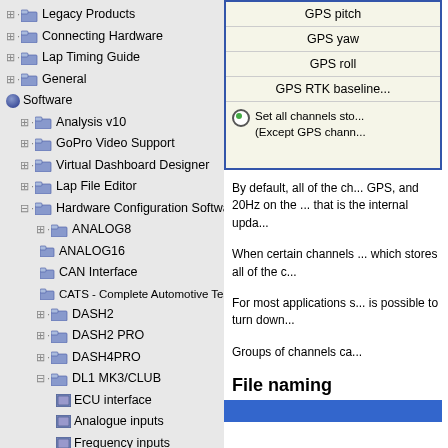[Figure (screenshot): Navigation tree panel showing software documentation structure with folders: Legacy Products, Connecting Hardware, Lap Timing Guide, General, Software (expanded with Analysis v10, GoPro Video Support, Virtual Dashboard Designer, Lap File Editor, Hardware Configuration Software expanded showing ANALOG8, ANALOG16, CAN Interface, CATS - Complete Automotive Test System, DASH2, DASH2 PRO, DASH4PRO, DL1 MK3/CLUB expanded with ECU interface, Analogue inputs, Frequency inputs)]
[Figure (screenshot): Dialog box showing GPS channel list including GPS pitch, GPS yaw, GPS roll, GPS RTK baseline, and a radio button option 'Set all channels sto... (Except GPS chann...' with green dot selected]
By default, all of the ch... GPS, and 20Hz on the ... that is the internal upda...
When certain channels ... which stores all of the c...
For most applications s... is possible to turn down...
Groups of channels ca...
File naming
[Figure (screenshot): Blue bar at bottom (partial button)]